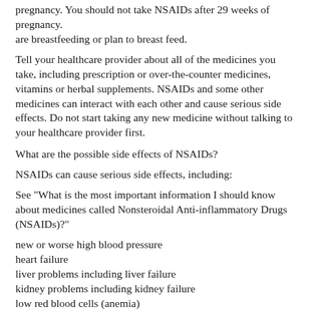pregnancy. You should not take NSAIDs after 29 weeks of pregnancy.
are breastfeeding or plan to breast feed.
Tell your healthcare provider about all of the medicines you take, including prescription or over-the-counter medicines, vitamins or herbal supplements. NSAIDs and some other medicines can interact with each other and cause serious side effects. Do not start taking any new medicine without talking to your healthcare provider first.
What are the possible side effects of NSAIDs?
NSAIDs can cause serious side effects, including:
See "What is the most important information I should know about medicines called Nonsteroidal Anti-inflammatory Drugs (NSAIDs)?"
new or worse high blood pressure
heart failure
liver problems including liver failure
kidney problems including kidney failure
low red blood cells (anemia)
life-threatening skin reactions
life-threatening allergic reactions
Other side effects of NSAIDs include : stomach pain,